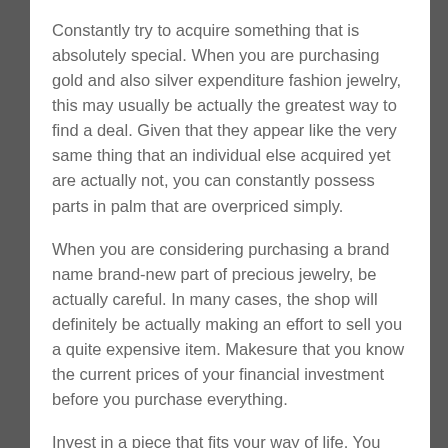Constantly try to acquire something that is absolutely special. When you are purchasing gold and also silver expenditure fashion jewelry, this may usually be actually the greatest way to find a deal. Given that they appear like the very same thing that an individual else acquired yet are actually not, you can constantly possess parts in palm that are overpriced simply.
When you are considering purchasing a brand name brand-new part of precious jewelry, be actually careful. In many cases, the shop will definitely be actually making an effort to sell you a quite expensive item. Makesure that you know the current prices of your financial investment before you purchase everything.
Invest in a piece that fits your way of life. You can obtain